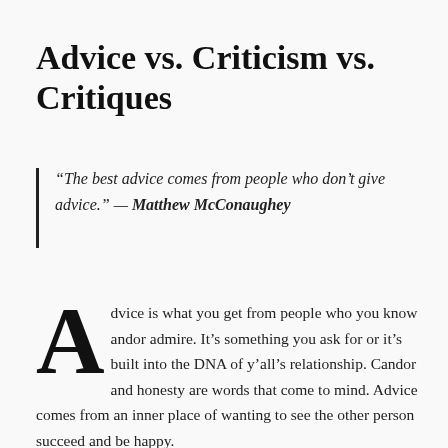Advice vs. Criticism vs. Critiques
“The best advice comes from people who don’t give advice.” — Matthew McConaughey
Advice is what you get from people who you know andor admire. It’s something you ask for or it’s built into the DNA of y’all’s relationship. Candor and honesty are words that come to mind. Advice comes from an inner place of wanting to see the other person succeed and be happy.